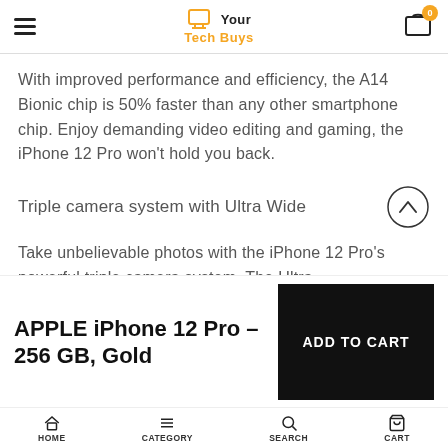Your Tech Buys
With improved performance and efficiency, the A14 Bionic chip is 50% faster than any other smartphone chip. Enjoy demanding video editing and gaming, the iPhone 12 Pro won't hold you back.
Triple camera system with Ultra Wide
Take unbelievable photos with the iPhone 12 Pro's powerful triple camera system. The Ultra
APPLE iPhone 12 Pro – 256 GB, Gold
HOME  CATEGORY  SEARCH  CART